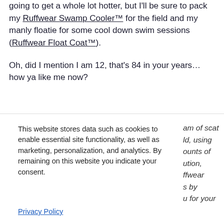going to get a whole lot hotter, but I'll be sure to pack my Ruffwear Swamp Cooler™ for the field and my manly floatie for some cool down swim sessions (Ruffwear Float Coat™).
Oh, did I mention I am 12, that's 84 in your years…how ya like me now?
This website stores data such as cookies to enable essential site functionality, as well as marketing, personalization, and analytics. By remaining on this website you indicate your consent.
am of scat ld, using ounts of ution, ffwear s by u for your
Privacy Policy